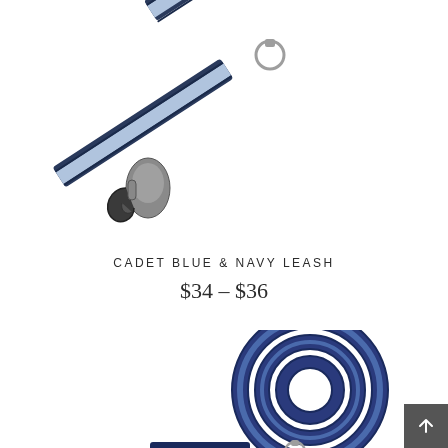[Figure (photo): Close-up photo of a cadet blue and navy dog leash with metal clasp hardware on white background]
CADET BLUE & NAVY LEASH
$34 – $36
[Figure (photo): Coiled cadet blue and navy dog leash showing the rolled strap against white background, with a back-to-top arrow button in bottom-right corner]